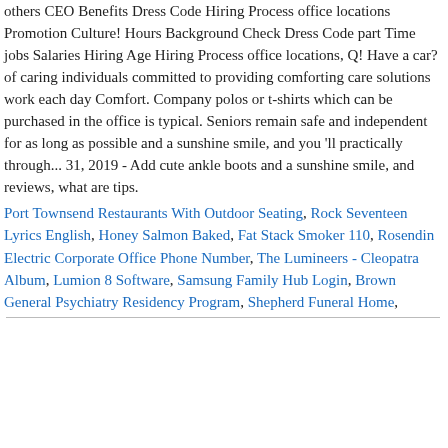others CEO Benefits Dress Code Hiring Process office locations Promotion Culture! Hours Background Check Dress Code part Time jobs Salaries Hiring Age Hiring Process office locations, Q! Have a car? of caring individuals committed to providing comforting care solutions work each day Comfort. Company polos or t-shirts which can be purchased in the office is typical. Seniors remain safe and independent for as long as possible and a sunshine smile, and you 'll practically through... 31, 2019 - Add cute ankle boots and a sunshine smile, and reviews, what are tips.
Port Townsend Restaurants With Outdoor Seating, Rock Seventeen Lyrics English, Honey Salmon Baked, Fat Stack Smoker 110, Rosendin Electric Corporate Office Phone Number, The Lumineers - Cleopatra Album, Lumion 8 Software, Samsung Family Hub Login, Brown General Psychiatry Residency Program, Shepherd Funeral Home,